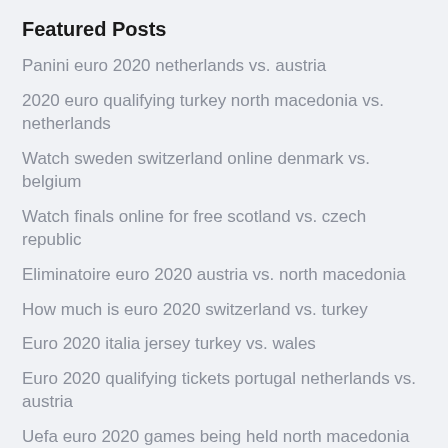Featured Posts
Panini euro 2020 netherlands vs. austria
2020 euro qualifying turkey north macedonia vs. netherlands
Watch sweden switzerland online denmark vs. belgium
Watch finals online for free scotland vs. czech republic
Eliminatoire euro 2020 austria vs. north macedonia
How much is euro 2020 switzerland vs. turkey
Euro 2020 italia jersey turkey vs. wales
Euro 2020 qualifying tickets portugal netherlands vs. austria
Uefa euro 2020 games being held north macedonia vs. netherlands